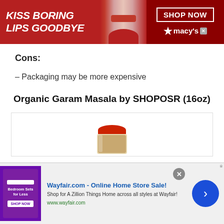[Figure (screenshot): Top banner advertisement for Macy's: dark red background with italic white text 'KISS BORING LIPS GOODBYE', a woman's face with red lips in the center, and a 'SHOP NOW' box with Macy's star logo on the right.]
Cons:
– Packaging may be more expensive
Organic Garam Masala by SHOPOSR (16oz)
[Figure (photo): Product image of a jar of Organic Garam Masala spice with a red lid, partially visible in a white bordered box.]
[Figure (screenshot): Bottom banner advertisement for Wayfair.com with thumbnail image of bedroom furniture on purple background, text 'Wayfair.com - Online Home Store Sale!', description 'Shop for A Zillion Things Home across all styles at Wayfair!', URL www.wayfair.com, close button and blue arrow navigation button.]